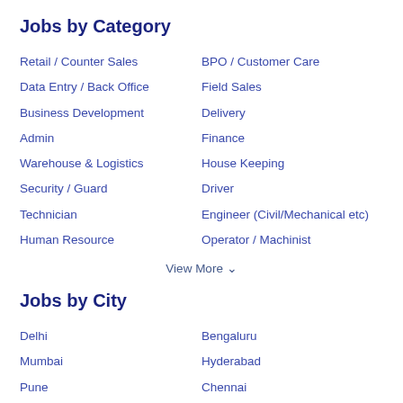Jobs by Category
Retail / Counter Sales
BPO / Customer Care
Data Entry / Back Office
Field Sales
Business Development
Delivery
Admin
Finance
Warehouse & Logistics
House Keeping
Security / Guard
Driver
Technician
Engineer (Civil/Mechanical etc)
Human Resource
Operator / Machinist
View More
Jobs by City
Delhi
Bengaluru
Mumbai
Hyderabad
Pune
Chennai
Kolkata
Noida